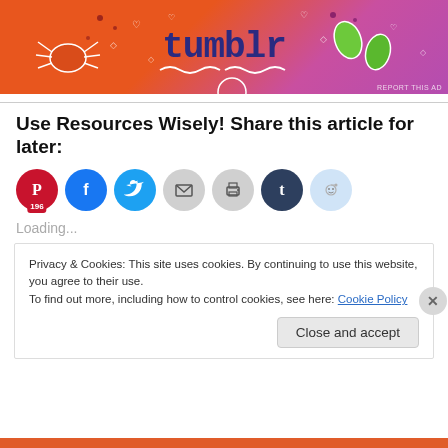[Figure (screenshot): Tumblr advertisement banner with colorful orange-to-pink gradient background featuring illustrated doodles (crab, leaves, hearts, diamonds) and the word 'tumblr' in bold dark blue text. A 'REPORT THIS AD' label appears at the bottom right.]
Use Resources Wisely! Share this article for later:
[Figure (screenshot): Row of social share buttons: Pinterest (red circle with P icon, showing count 196), Facebook (blue circle with f icon), Twitter (blue circle with bird icon), Email (grey circle with envelope icon), Print (grey circle with printer icon), Tumblr (dark blue circle with t icon), Reddit (light blue circle with alien icon).]
Loading...
Privacy & Cookies: This site uses cookies. By continuing to use this website, you agree to their use.
To find out more, including how to control cookies, see here: Cookie Policy
Close and accept